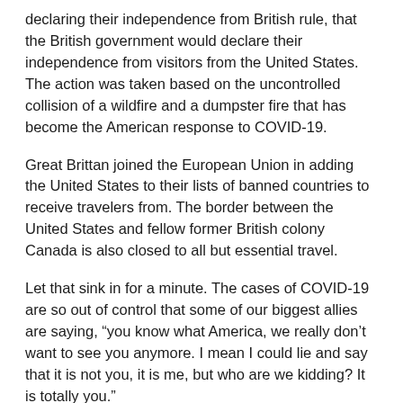declaring their independence from British rule, that the British government would declare their independence from visitors from the United States. The action was taken based on the uncontrolled collision of a wildfire and a dumpster fire that has become the American response to COVID-19.
Great Brittan joined the European Union in adding the United States to their lists of banned countries to receive travelers from. The border between the United States and fellow former British colony Canada is also closed to all but essential travel.
Let that sink in for a minute. The cases of COVID-19 are so out of control that some of our biggest allies are saying, “you know what America, we really don’t want to see you anymore. I mean I could lie and say that it is not you, it is me, but who are we kidding? It is totally you.”
It can be jarring to think that the American freedom of traveling anywhere we want, and talking extra loudly to locals